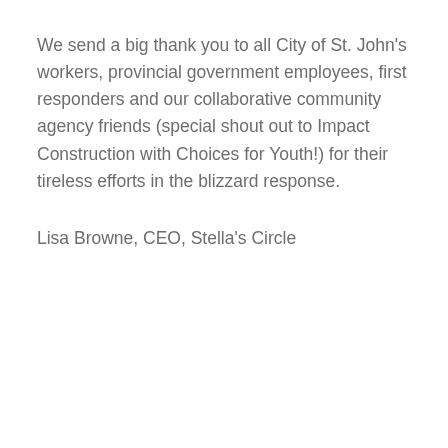We send a big thank you to all City of St. John's workers, provincial government employees, first responders and our collaborative community agency friends (special shout out to Impact Construction with Choices for Youth!) for their tireless efforts in the blizzard response.
Lisa Browne, CEO, Stella's Circle